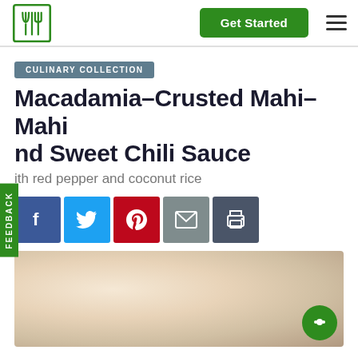Get Started | navigation bar with logo
CULINARY COLLECTION
Macadamia-Crusted Mahi-Mahi and Sweet Chili Sauce
with red pepper and coconut rice
[Figure (screenshot): Social sharing buttons: Facebook, Twitter, Pinterest, Email, Print]
[Figure (photo): Food photo - blurred/unfocused image of the dish in warm beige and cream tones]